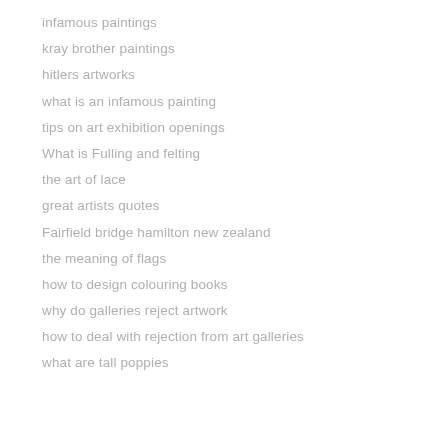infamous paintings
kray brother paintings
hitlers artworks
what is an infamous painting
tips on art exhibition openings
What is Fulling and felting
the art of lace
great artists quotes
Fairfield bridge hamilton new zealand
the meaning of flags
how to design colouring books
why do galleries reject artwork
how to deal with rejection from art galleries
what are tall poppies